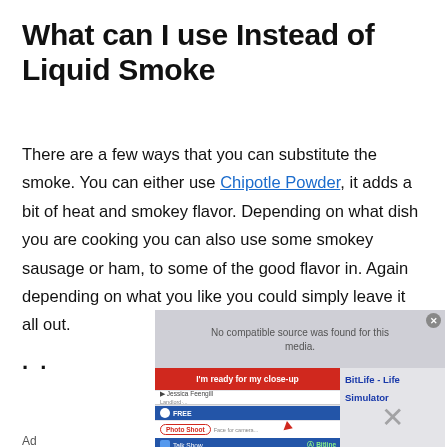What can I use Instead of Liquid Smoke
There are a few ways that you can substitute the smoke. You can either use Chipotle Powder, it adds a bit of heat and smokey flavor. Depending on what dish you are cooking you can also use some smokey sausage or ham, to some of the good flavor in. Again depending on what you like you could simply leave it all out.
..
[Figure (screenshot): An ad overlay for BitLife - Life Simulator app, showing a video player UI with 'No compatible source was found for this media.' message, a red bar reading 'I'm ready for my close-up', game interface rows including FREE, Photo Shoot, and Talk Show, and a close X button. An 'Ad' label appears at the bottom.]